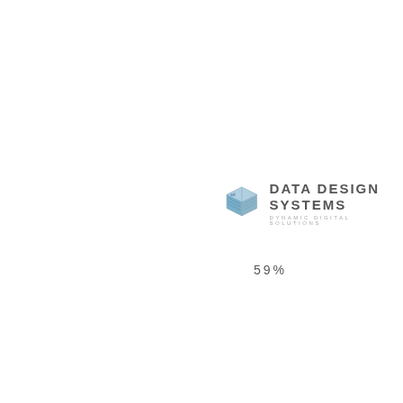[Figure (logo): Data Design Systems logo: a 3D cube icon in blue and grey tones with layered lines, next to the text 'DATA DESIGN SYSTEMS' and subtitle 'DYNAMIC DIGITAL SOLUTIONS']
59%